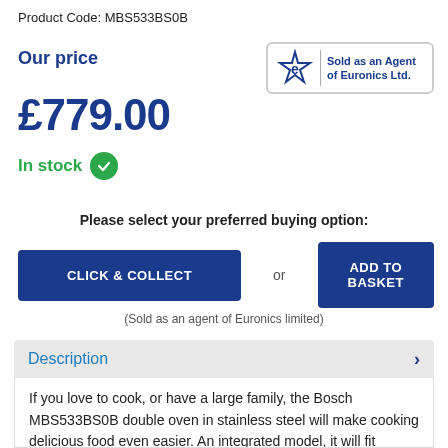Product Code: MBS533BS0B
Our price
[Figure (logo): Euronics logo with star and 'e' symbol and text 'Sold as an Agent of Euronics Ltd.']
£779.00
In stock
Please select your preferred buying option:
CLICK & COLLECT
or
ADD TO BASKET
(Sold as an agent of Euronics limited)
Description
If you love to cook, or have a large family, the Bosch MBS533BS0B double oven in stainless steel will make cooking delicious food even easier. An integrated model, it will fit seamlessly into your existing kitchen